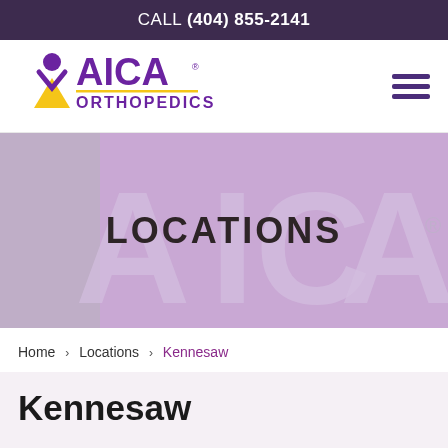CALL (404) 855-2141
[Figure (logo): AICA Orthopedics logo with purple figure icon and yellow triangle]
[Figure (photo): AICA Orthopedics office interior with purple wall and 3D AICA Orthopedics logo signage, overlaid with bold text LOCATIONS]
Home > Locations > Kennesaw
Kennesaw